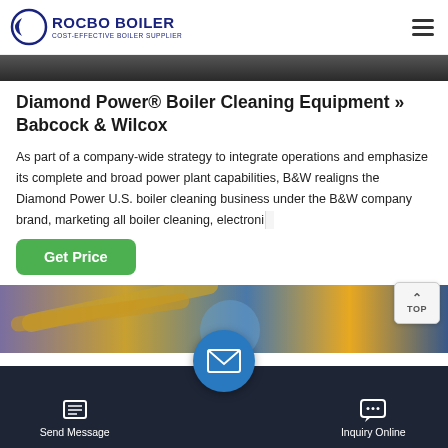[Figure (logo): Rocbo Boiler logo with crescent moon icon and text 'ROCBO BOILER - COST-EFFECTIVE BOILER SUPPLIER' in dark blue]
[Figure (photo): Dark industrial boiler equipment photo strip at top]
Diamond Power® Boiler Cleaning Equipment » Babcock & Wilcox
As part of a company-wide strategy to integrate operations and emphasize its complete and broad power plant capabilities, B&W realigns the Diamond Power U.S. boiler cleaning business under the B&W company brand, marketing all boiler cleaning, electroni…
[Figure (other): Green 'Get Price' button]
[Figure (photo): Industrial boiler equipment photo showing orange tubes and machinery in blue/purple environment]
[Figure (other): Bottom navigation bar with Send Message and Inquiry Online icons on dark background, and central email button circle]